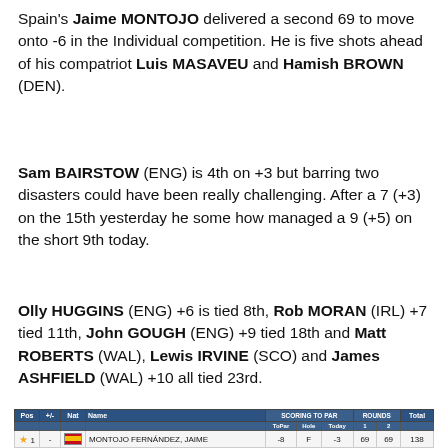Spain's Jaime MONTOJO delivered a second 69 to move onto -6 in the Individual competition. He is five shots ahead of his compatriot Luis MASAVEU and Hamish BROWN (DEN).
Sam BAIRSTOW (ENG) is 4th on +3 but barring two disasters could have been really challenging. After a 7 (+3) on the 15th yesterday he some how managed a 9 (+5) on the short 9th today.
Olly HUGGINS (ENG) +6 is tied 8th, Rob MORAN (IRL) +7 tied 11th, John GOUGH (ENG) +9 tied 18th and Matt ROBERTS (WAL), Lewis IRVINE (SCO) and James ASHFIELD (WAL) +10 all tied 23rd.
| Pos | +/- | Nat | Name | ToPar | Hole | Today | 1 | 2 | Total |
| --- | --- | --- | --- | --- | --- | --- | --- | --- | --- |
| 1 | - | ESP | MONTOJO FERNÁNDEZ, JAIME | -8 | F | -3 | 69 | 69 | 138 |